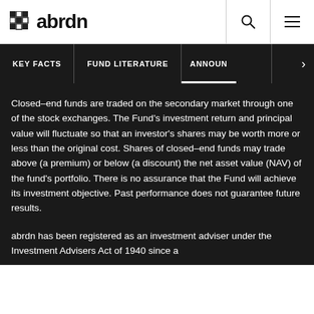abrdn
KEY FACTS   FUND LITERATURE   ANNOUN
Closed-end funds are traded on the secondary market through one of the stock exchanges. The Fund’s investment return and principal value will fluctuate so that an investor’s shares may be worth more or less than the original cost. Shares of closed-end funds may trade above (a premium) or below (a discount) the net asset value (NAV) of the fund’s portfolio. There is no assurance that the Fund will achieve its investment objective. Past performance does not guarantee future results.
abrdn has been registered as an investment adviser under the Investment Advisers Act of 1940 since a